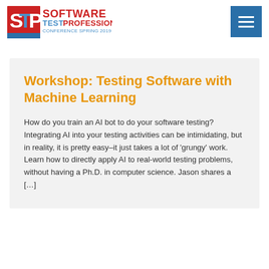[Figure (logo): STP Software Test Professionals Conference Spring 2019 logo with red STP box and blue/red text]
[Figure (other): Blue hamburger menu button with three white horizontal lines]
Workshop: Testing Software with Machine Learning
How do you train an AI bot to do your software testing? Integrating AI into your testing activities can be intimidating, but in reality, it is pretty easy–it just takes a lot of 'grungy' work. Learn how to directly apply AI to real-world testing problems, without having a Ph.D. in computer science. Jason shares a […]